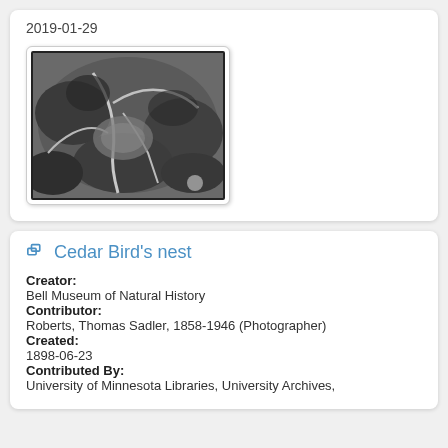2019-01-29
[Figure (photo): Black and white photograph of a bird's nest among foliage and branches]
Cedar Bird's nest
Creator:
Bell Museum of Natural History
Contributor:
Roberts, Thomas Sadler, 1858-1946 (Photographer)
Created:
1898-06-23
Contributed By:
University of Minnesota Libraries, University Archives,